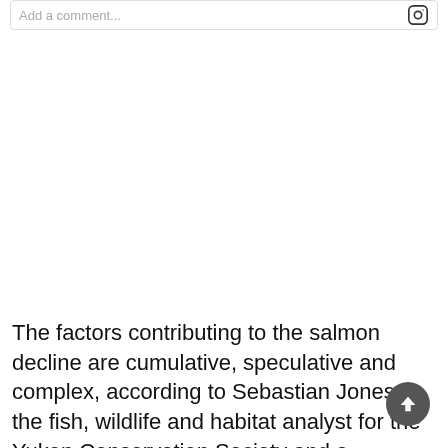Add a comment...
The factors contributing to the salmon decline are cumulative, speculative and complex, according to Sebastian Jones, the fish, wildlife and habitat analyst for the Yukon Conservation Society and a commercial fisherman.